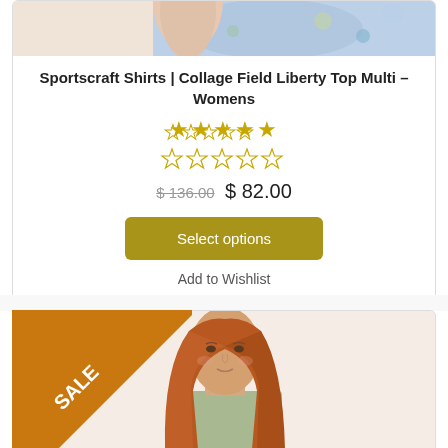[Figure (photo): Top portion of a woman wearing a floral blue/multi print top, cropped at shoulder level]
Sportscraft Shirts | Collage Field Liberty Top Multi – Womens
★★★★★ (empty stars rating)
$ 136.00  $ 82.00
Select options
Add to Wishlist
[Figure (photo): Woman with long red/auburn hair wearing a sage green top, photographed against a light beige background, with an orange SALE ribbon badge in the top-left corner]